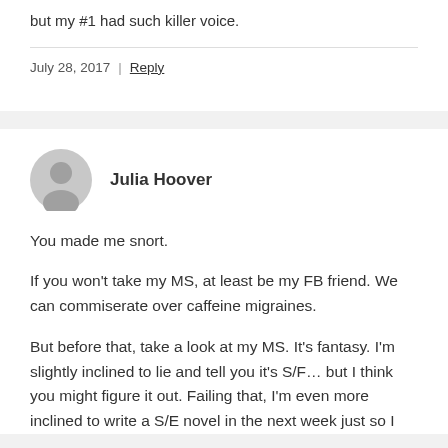but my #1 had such killer voice.
July 28, 2017  |  Reply
Julia Hoover
You made me snort.
If you won't take my MS, at least be my FB friend. We can commiserate over caffeine migraines.
But before that, take a look at my MS. It's fantasy. I'm slightly inclined to lie and tell you it's S/F… but I think you might figure it out. Failing that, I'm even more inclined to write a S/E novel in the next week just so I